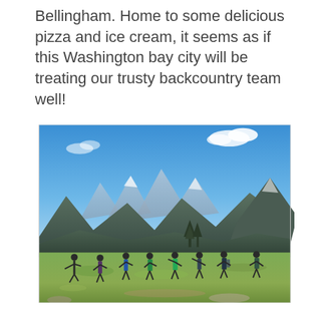Bellingham. Home to some delicious pizza and ice cream, it seems as if this Washington bay city will be treating our trusty backcountry team well!
[Figure (photo): A group of eight people standing and jumping on a green alpine meadow with a panoramic mountain range backdrop under a bright blue sky with scattered clouds.]